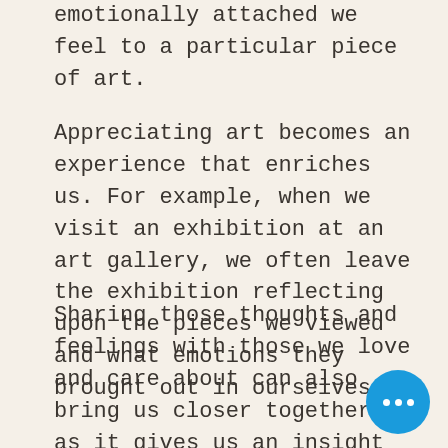emotionally attached we feel to a particular piece of art.
Appreciating art becomes an experience that enriches us. For example, when we visit an exhibition at an art gallery, we often leave the exhibition reflecting upon the pieces we viewed and what emotions they brought out in ourselves.
Sharing those thoughts and feelings with those we love and care about can also bring us closer together, as it gives us an insight into the other person’s mind and gives us a greater understanding of who they are. Sometimes, we think we’re different, but art can